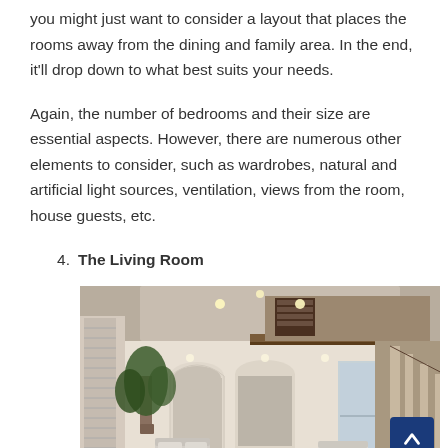you might just want to consider a layout that places the rooms away from the dining and family area. In the end, it'll drop down to what best suits your needs.
Again, the number of bedrooms and their size are essential aspects. However, there are numerous other elements to consider, such as wardrobes, natural and artificial light sources, ventilation, views from the room, house guests, etc.
4.  The Living Room
[Figure (photo): Large open-plan luxury living room with double-height ceilings, curved staircase, arched doorways, indoor plants, and elegant furnishings.]